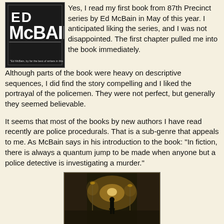[Figure (photo): Book cover of Ed McBain with large stylized text 'ED McBAIN' in bold white letters on dark background, with a small quote at the bottom]
Yes, I read my first book from 87th Precinct series by Ed McBain in May of this year. I anticipated liking the series, and I was not disappointed. The first chapter pulled me into the book immediately.  Although parts of the book were heavy on descriptive sequences, I did find the story compelling and I liked the portrayal of the policemen. They were not perfect, but generally they seemed believable.
It seems that most of the books by new authors I have read recently are police procedurals. That is a sub-genre that appeals to me. As McBain says in his introduction to the book: "In fiction, there is always a quantum jump to be made when anyone but a police detective is investigating a murder."
[Figure (photo): Dark atmospheric image showing a dimly lit alley or street with a silhouetted figure, suggesting a crime or mystery scene]